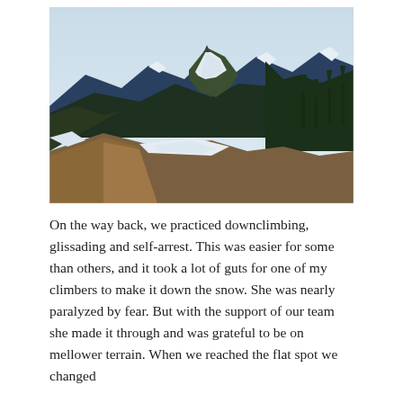[Figure (photo): Mountain ridge photo showing a snow-patched ridge in the foreground leading to a forested, snow-capped peak in the middle distance, with a panorama of forested mountain ranges and a pale blue sky in the background.]
On the way back, we practiced downclimbing, glissading and self-arrest. This was easier for some than others, and it took a lot of guts for one of my climbers to make it down the snow. She was nearly paralyzed by fear. But with the support of our team she made it through and was grateful to be on mellower terrain. When we reached the flat spot we changed